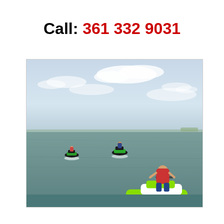Call: 361 332 9031
[Figure (photo): Three people riding green and black jet skis on open ocean water under a partly cloudy sky. The closest jet ski is green and white with a rider in a life vest, and two more jet skis are visible in the background leaving wakes on the greenish-gray water.]